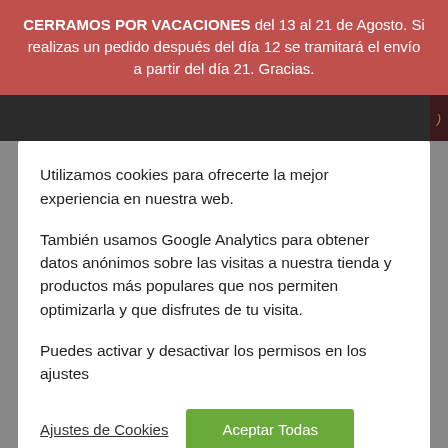CERRAMOS POR VACACIONES del 13 al 21 de Agosto. Si realizas un pedido después del día 12 se tramitará el envío a partir del día 21. Gracias.
Utilizamos cookies para ofrecerte la mejor experiencia en nuestra web.
También usamos Google Analytics para obtener datos anónimos sobre las visitas a nuestra tienda y productos más populares que nos permiten optimizarla y que disfrutes de tu visita.
Puedes activar y desactivar los permisos en los ajustes
Ajustes de Cookies
Aceptar Todas